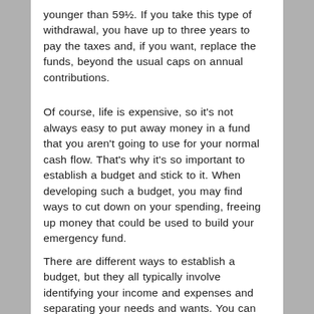younger than 59½. If you take this type of withdrawal, you have up to three years to pay the taxes and, if you want, replace the funds, beyond the usual caps on annual contributions.
Of course, life is expensive, so it's not always easy to put away money in a fund that you aren't going to use for your normal cash flow. That's why it's so important to establish a budget and stick to it. When developing such a budget, you may find ways to cut down on your spending, freeing up money that could be used to build your emergency fund.
There are different ways to establish a budget, but they all typically involve identifying your income and expenses and separating your needs and wants. You can